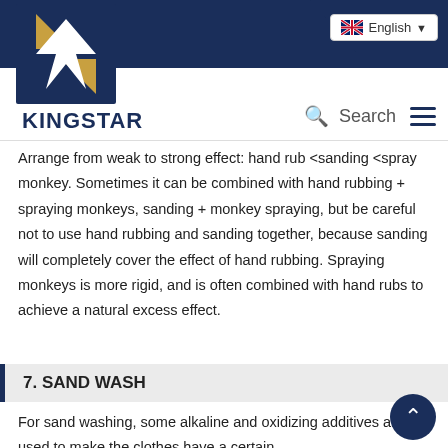[Figure (logo): Kingstar logo with blue square containing gold/white star shape and white arrow, with KINGSTAR text below in dark navy]
English ▼
Arrange from weak to strong effect: hand rub <sanding <spray monkey. Sometimes it can be combined with hand rubbing + spraying monkeys, sanding + monkey spraying, but be careful not to use hand rubbing and sanding together, because sanding will completely cover the effect of hand rubbing. Spraying monkeys is more rigid, and is often combined with hand rubs to achieve a natural excess effect.
7. SAND WASH
For sand washing, some alkaline and oxidizing additives are used to make the clothes have a certain